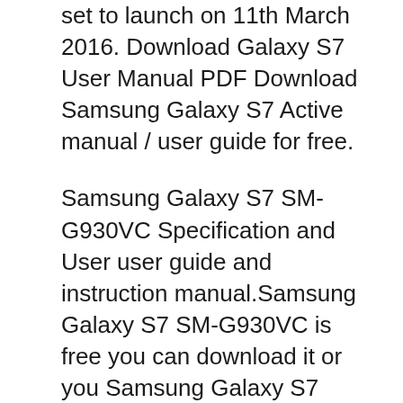set to launch on 11th March 2016. Download Galaxy S7 User Manual PDF Download Samsung Galaxy S7 Active manual / user guide for free.
Samsung Galaxy S7 SM-G930VC Specification and User user guide and instruction manual.Samsung Galaxy S7 SM-G930VC is free you can download it or you Samsung Galaxy S7 Android smartphone. Announced Feb 2016. Features 5.1вЂi Super AMOLED display, Exynos 8890 Octa chipset, 12 MP primary camera, 5 MP front camera
Samsung Galaxy S7 user manual guide is really simple and easy to use. You can